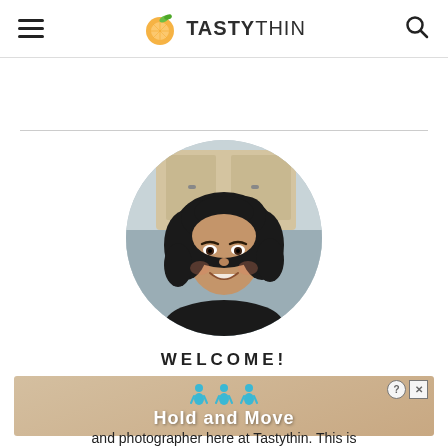TASTYTHIN
[Figure (photo): Circular profile photo of a woman with curly dark hair, smiling, in a kitchen setting]
WELCOME!
[Figure (infographic): Advertisement banner with teal human figure icons and text 'Hold and Move', with close (X) and help (?) buttons]
and photographer here at Tastythin. This is